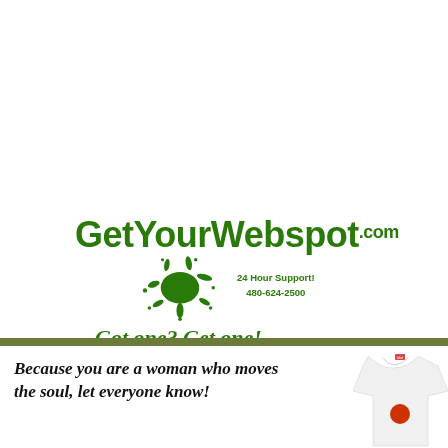[Figure (logo): GetYourWebspot.com logo with green text, ink splat graphic, and tagline 'Got one? Get one!']
[Figure (illustration): Bottom advertisement banner with a white t-shirt photo and text about women who move the soul]